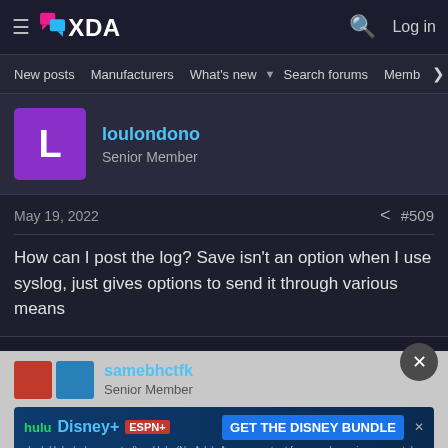XDA Forums - Log in
New posts  Manufacturers  What's new  Search forums  Members
loulondono
Senior Member
May 19, 2022  #509
How can I post the log? Save isn't an option when I use syslog, just gives options to send it through various means
Senior Member
[Figure (screenshot): Disney Bundle advertisement banner with Hulu, Disney+, ESPN+ logos and GET THE DISNEY BUNDLE CTA button]
May 20, 2022